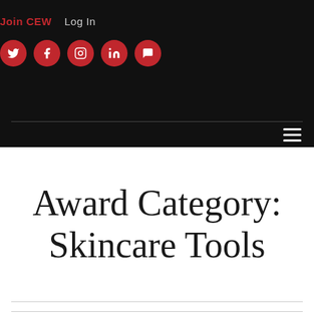Join CEW  Log In
[Figure (other): Social media icon buttons: Twitter, Facebook, Instagram, LinkedIn, and a chat/message icon — all in red circles on a black background header]
Award Category: Skincare Tools